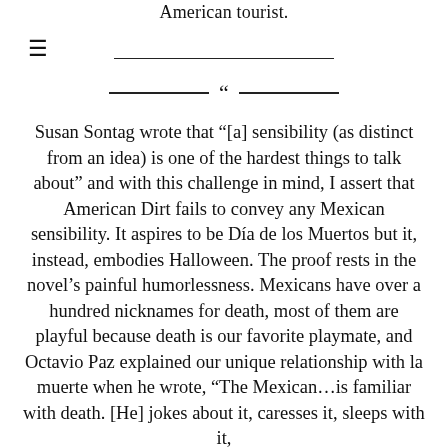American tourist.
Susan Sontag wrote that “[a] sensibility (as distinct from an idea) is one of the hardest things to talk about” and with this challenge in mind, I assert that American Dirt fails to convey any Mexican sensibility. It aspires to be Día de los Muertos but it, instead, embodies Halloween. The proof rests in the novel’s painful humorlessness. Mexicans have over a hundred nicknames for death, most of them are playful because death is our favorite playmate, and Octavio Paz explained our unique relationship with la muerte when he wrote, “The Mexican…is familiar with death. [He] jokes about it, caresses it, sleeps with it, and loves it. It is one of his favorite toys and